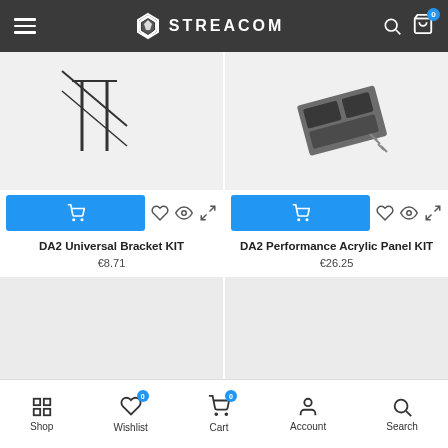STREACOM
[Figure (screenshot): Product listing page for Streacom shop showing two products: DA2 Universal Bracket KIT at €8.71 and DA2 Performance Acrylic Panel KIT at €26.25, with add to cart buttons, wishlist and compare icons, and two loading product card placeholders below.]
DA2 Universal Bracket KIT
€8.71
DA2 Performance Acrylic Panel KIT
€26.25
Shop  Wishlist  Cart  Account  Search